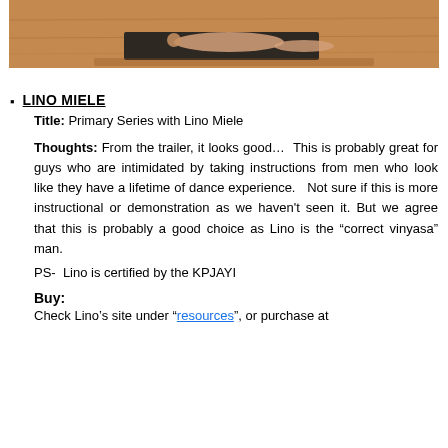[Figure (photo): Photo showing a person lying on a dark yoga mat on a wooden floor, performing a yoga pose.]
LINO MIELE
Title: Primary Series with Lino Miele
Thoughts: From the trailer, it looks good... This is probably great for guys who are intimidated by taking instructions from men who look like they have a lifetime of dance experience. Not sure if this is more instructional or demonstration as we haven't seen it. But we agree that this is probably a good choice as Lino is the “correct vinyasa” man.
PS-  Lino is certified by the KPJAYI
Buy:
Check Lino’s site under “resources”, or purchase at